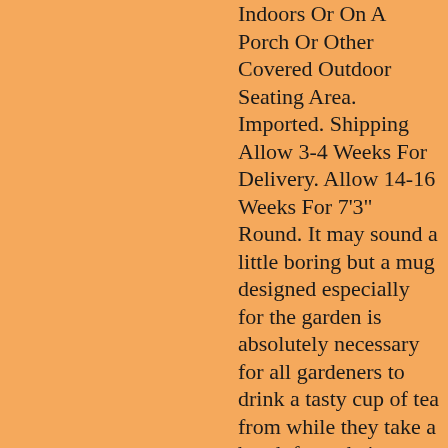Indoors Or On A Porch Or Other Covered Outdoor Seating Area. Imported. Shipping Allow 3-4 Weeks For Delivery. Allow 14-16 Weeks For 7'3" Round. It may sound a little boring but a mug designed especially for the garden is absolutely necessary for all gardeners to drink a tasty cup of tea from while they take a break from their strenuous digging. If you haven't already seen them, Simon Drew designs wonderful "anti-bug" mugs, with quirky stylish